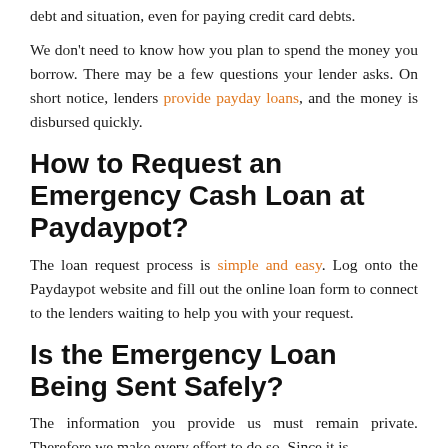debt and situation, even for paying credit card debts.
We don't need to know how you plan to spend the money you borrow. There may be a few questions your lender asks. On short notice, lenders provide payday loans, and the money is disbursed quickly.
How to Request an Emergency Cash Loan at Paydaypot?
The loan request process is simple and easy. Log onto the Paydaypot website and fill out the online loan form to connect to the lenders waiting to help you with your request.
Is the Emergency Loan Being Sent Safely?
The information you provide us must remain private. Therefore we make every effort to do so. Since it is